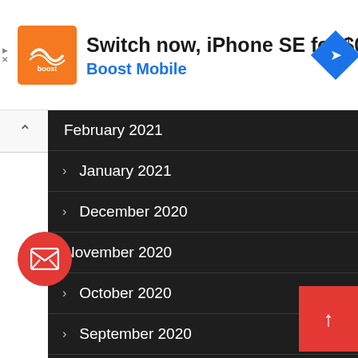[Figure (screenshot): Boost Mobile advertisement banner: orange logo with 'boost' text, headline 'Switch now, iPhone SE for $0', subtitle 'Boost Mobile' in blue, blue diamond navigation icon on right]
February 2021
January 2021
December 2020
November 2020
October 2020
September 2020
August 2020
July 2020
June 2020